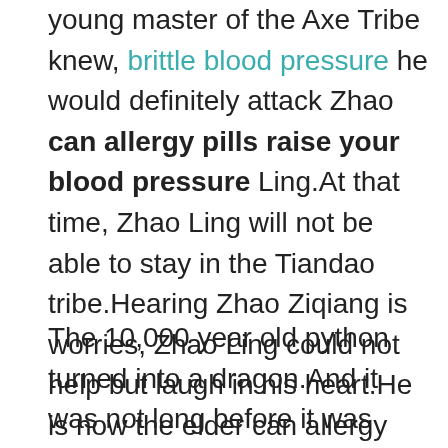young master of the Axe Tribe knew, brittle blood pressure he would definitely attack Zhao can allergy pills raise your blood pressure Ling.At that time, Zhao Ling will not be able to stay in the Tiandao tribe.Hearing Zhao Ziqiang is worries, Zhao Ling could not help but laugh in his heart.He is now the elder can allergy pills raise your blood pressure of the Tiandao tribe, and he is also the elder of the criminal law.This position is not comparable to ordinary people.Moreover, even if it is the Tiandao tribe, that Liu Lao must give him some face.What is more, what about the young master of the Coil Axe Tribe Ling er, do you really want to do this Zhao Ziqiang frowned and said again.
The 10,000 year old python turned into a dragon.And it was not long before it was transformed into a thunderstorm.Such a dragon has no effect at all.The real dragon energy you exude is can allergy pills raise your blood pressure actually only 1 10,000 of the dragon qi of a dragon.This kind of dragon qi has